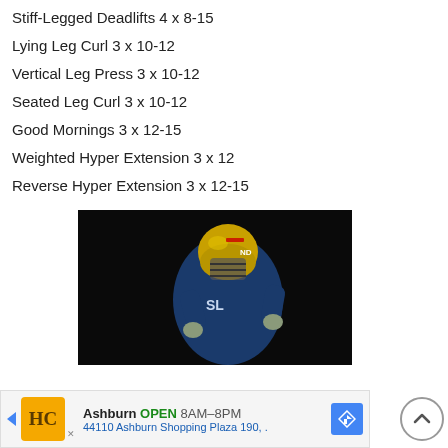Stiff-Legged Deadlifts 4 x 8-15
Lying Leg Curl 3 x 10-12
Vertical Leg Press 3 x 10-12
Seated Leg Curl 3 x 10-12
Good Mornings 3 x 12-15
Weighted Hyper Extension 3 x 12
Reverse Hyper Extension 3 x 12-15
[Figure (photo): Football player in blue and gold uniform with gold helmet, dark background]
Ashburn OPEN 8AM–8PM 44110 Ashburn Shopping Plaza 190,.